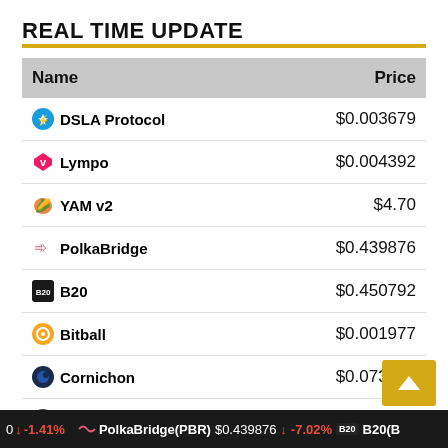REAL TIME UPDATE
| Name | Price |
| --- | --- |
| DSLA Protocol | $0.003679 |
| Lympo | $0.004392 |
| YAM v2 | $4.70 |
| PolkaBridge | $0.439876 |
| B20 | $0.450792 |
| Bitball | $0.001977 |
| Cornichon | $0.073096 |
| MoonTools | $13.81 |
0 ↓ -1.41%   PolkaBridge(PBR) $0.439876 ↓ -7.02%   B20(B